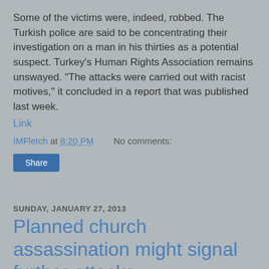Some of the victims were, indeed, robbed. The Turkish police are said to be concentrating their investigation on a man in his thirties as a potential suspect. Turkey's Human Rights Association remains unswayed. "The attacks were carried out with racist motives," it concluded in a report that was published last week.
Link
IMFletch at 8:20 PM   No comments:
Share
SUNDAY, JANUARY 27, 2013
Planned church assassination might signal further attacks
[Figure (photo): A gray placeholder image with a broken image icon in the top left corner]